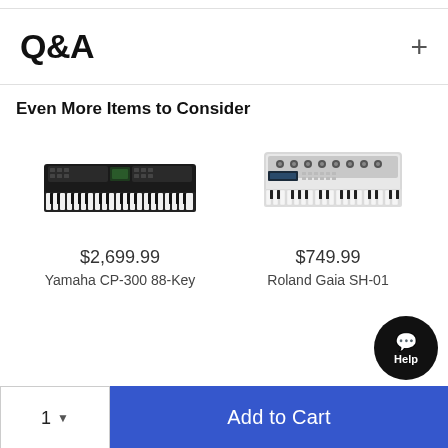Q&A
Even More Items to Consider
[Figure (photo): Yamaha CP-300 88-Key stage piano, black, viewed from front-top angle]
$2,699.99
Yamaha CP-300 88-Key
[Figure (photo): Roland Gaia SH-01 synthesizer keyboard, white/silver, viewed from front-top angle]
$749.99
Roland Gaia SH-01
Add to Cart